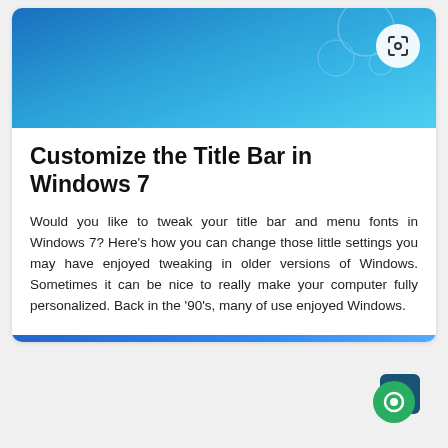[Figure (screenshot): Blue gradient banner image at the top of the card with a circular scan/search icon in the top-right corner]
Customize the Title Bar in Windows 7
Would you like to tweak your title bar and menu fonts in Windows 7? Here's how you can change those little settings you may have enjoyed tweaking in older versions of Windows. Sometimes it can be nice to really make your computer fully personalized. Back in the '90's, many of use enjoyed Windows.
[Figure (illustration): Green circular chat bubble icon with teal/dark blue background shape, positioned in the bottom-right corner of the page]